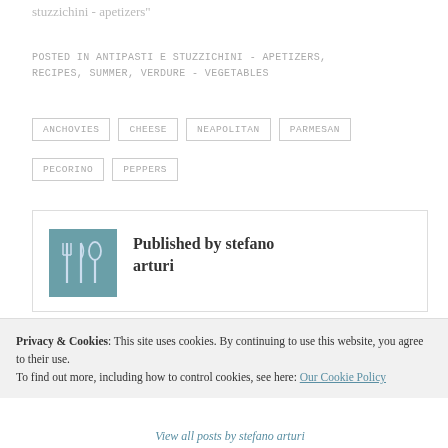stuzzichini - apetizers"
POSTED IN ANTIPASTI E STUZZICHINI - APETIZERS, RECIPES, SUMMER, VERDURE - VEGETABLES
ANCHOVIES
CHEESE
NEAPOLITAN
PARMESAN
PECORINO
PEPPERS
Published by stefano arturi
Privacy & Cookies: This site uses cookies. By continuing to use this website, you agree to their use. To find out more, including how to control cookies, see here: Our Cookie Policy
Close and accept
View all posts by stefano arturi